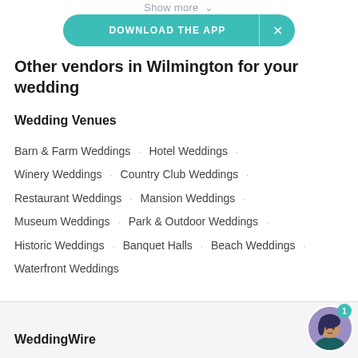Show more
[Figure (screenshot): Download the app banner button in teal/green color with X close button]
Other vendors in Wilmington for your wedding
Wedding Venues
Barn & Farm Weddings · Hotel Weddings ·
Winery Weddings · Country Club Weddings ·
Restaurant Weddings · Mansion Weddings ·
Museum Weddings · Park & Outdoor Weddings ·
Historic Weddings · Banquet Halls · Beach Weddings ·
Waterfront Weddings
WeddingWire